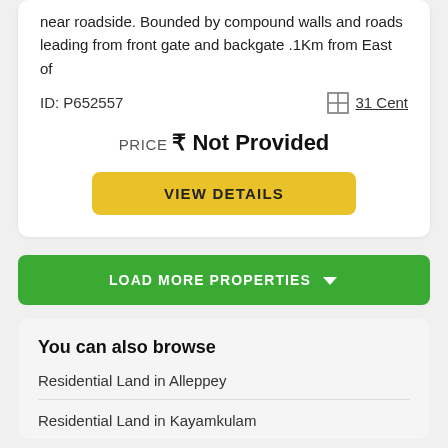near roadside. Bounded by compound walls and roads leading from front gate and backgate .1Km from East of
ID: P652557
31 Cent
PRICE ₹ Not Provided
VIEW DETAILS
LOAD MORE PROPERTIES
You can also browse
Residential Land in Alleppey
Residential Land in Kayamkulam